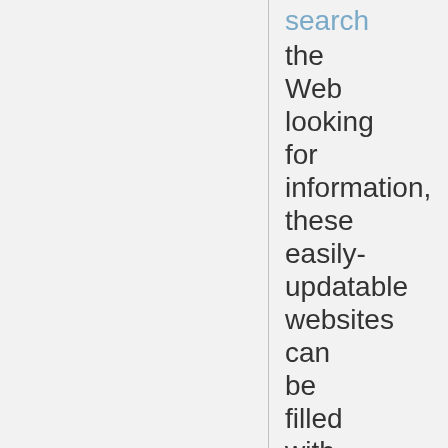search the Web looking for information, these easily-updatable websites can be filled with advice